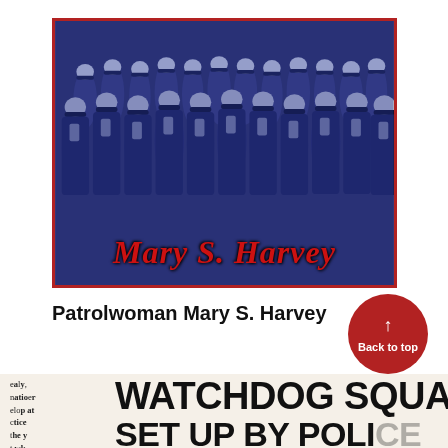[Figure (photo): Black-and-white photo with blue tint of many policewomen in uniform marching in formation, wearing police caps. Overlaid in large italic red bold text at the bottom: 'Mary S. Harvey'. Photo has a dark red border.]
Patrolwoman Mary S. Harvey
[Figure (screenshot): Partial newspaper clipping showing headline text 'WATCHDOG SQUA...' (WATCHDOG SQUAD) on top and 'SET UP BY POLI...' (SET UP BY POLICE) partially visible below, along with partial text columns on the left side reading: 'early, mation develop at practice the y it wk']